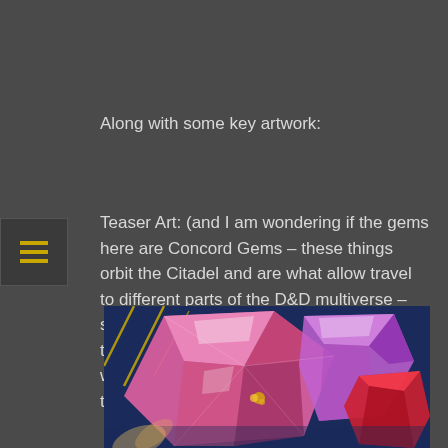Along with some key artwork:
Teaser Art: (and I am wondering if the gems here are Concord Gems – these things orbit the Citadel and are what allow travel to different parts of the D&D multiverse – some of which are dormant and those are the ones that players can make use of when travelling from their homebrew worlds to the Radiant Citadel):
[Figure (photo): Colorful fantasy gemstone artwork showing large pink/red crystalline gems with iridescent facets against a dark blue background, with gold diagonal lines visible. Appears to be teaser art for a D&D Radiant Citadel product featuring Concord Gems.]